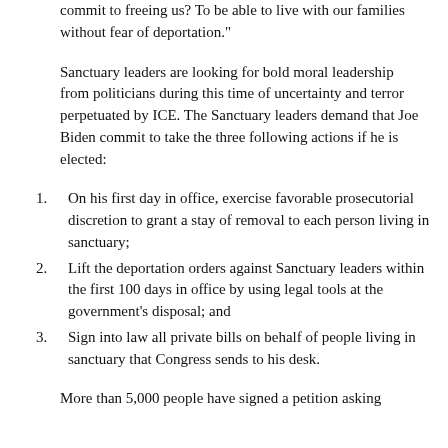commit to freeing us? To be able to live with our families without fear of deportation."
Sanctuary leaders are looking for bold moral leadership from politicians during this time of uncertainty and terror perpetuated by ICE. The Sanctuary leaders demand that Joe Biden commit to take the three following actions if he is elected:
On his first day in office, exercise favorable prosecutorial discretion to grant a stay of removal to each person living in sanctuary;
Lift the deportation orders against Sanctuary leaders within the first 100 days in office by using legal tools at the government's disposal; and
Sign into law all private bills on behalf of people living in sanctuary that Congress sends to his desk.
More than 5,000 people have signed a petition asking